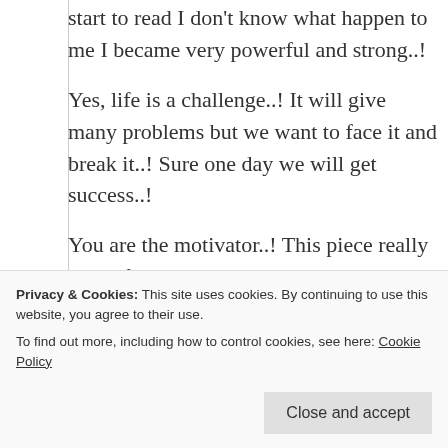start to read I don't know what happen to me I became very powerful and strong..!
Yes, life is a challenge..! It will give many problems but we want to face it and break it..! Sure one day we will get success..!
You are the motivator..! This piece really powerful and motivation..! And I loved the whole piece..! Especially I love the stanza,
“Rise up and move on
Privacy & Cookies: This site uses cookies. By continuing to use this website, you agree to their use. To find out more, including how to control cookies, see here: Cookie Policy
Close and accept
And make a decision”